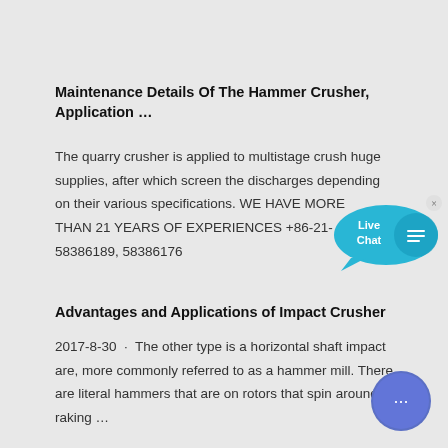Maintenance Details Of The Hammer Crusher, Application …
The quarry crusher is applied to multistage crush huge supplies, after which screen the discharges depending on their various specifications. WE HAVE MORE THAN 21 YEARS OF EXPERIENCES +86-21-58386189, 58386176
[Figure (illustration): Live Chat speech bubble widget with cyan color, showing 'Live Chat' text and a close button]
Advantages and Applications of Impact Crusher
2017-8-30 · The other type is a horizontal shaft impact are, more commonly referred to as a hammer mill. There are literal hammers that are on rotors that spin around, raking …
[Figure (illustration): Round blue chat widget button with ellipsis (…) symbol in the bottom right corner]